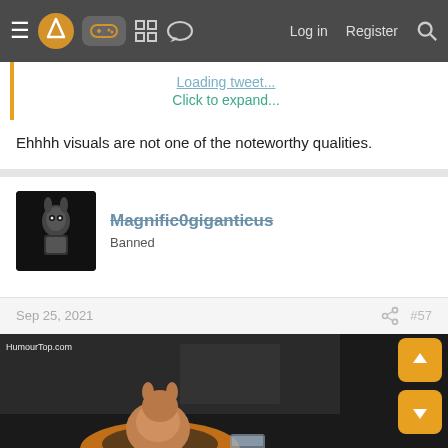≡ [logo] [controller icon] [grid icon] [chat icon] Log in Register [search]
Loading tweet... Click to expand...
Ehhhh visuals are not one of the noteworthy qualities.
Magnific0giganticus
Banned
Sep 25, 2021  #57
[Figure (photo): Animated GIF showing a hamster or small animal in an orange ring/floatie in what appears to be a drink or water container. Watermark: HumourTop.com]